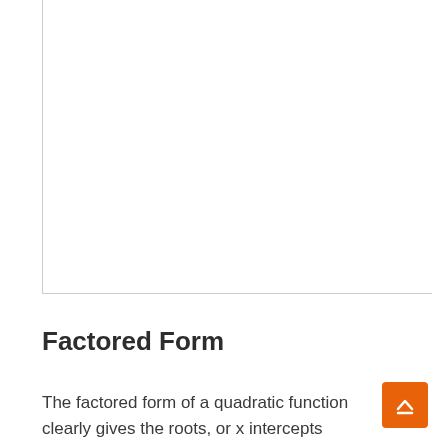[Figure (other): Partial view of a chart or graph area, showing only the left and bottom border lines of a graph with white interior — content extends above this page crop.]
Factored Form
The factored form of a quadratic function clearly gives the roots, or x intercepts